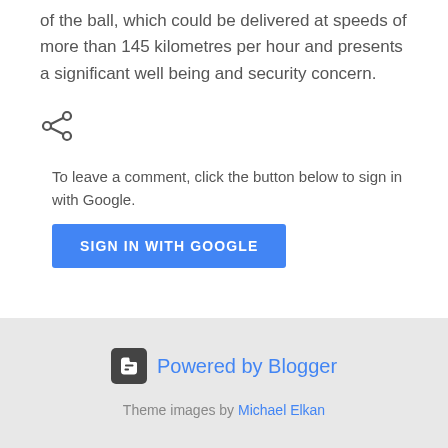of the ball, which could be delivered at speeds of more than 145 kilometres per hour and presents a significant well being and security concern.
[Figure (illustration): Share icon (less-than style share symbol)]
To leave a comment, click the button below to sign in with Google.
[Figure (other): SIGN IN WITH GOOGLE blue button]
Powered by Blogger
Theme images by Michael Elkan